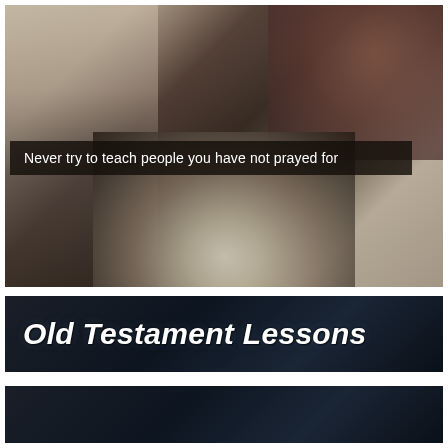[Figure (photo): Overhead view of a group Bible study session showing multiple people with open Bibles on a dark table, hands clasped in prayer, with a woman in a leopard-print scarf visible on the right and others around the table.]
Never try to teach people you have not prayed for
[Figure (illustration): Dark navy/black banner graphic with bold white italic text reading 'Old Testament Lessons']
[Figure (illustration): Dark navy/black banner graphic, partially visible at bottom of page]